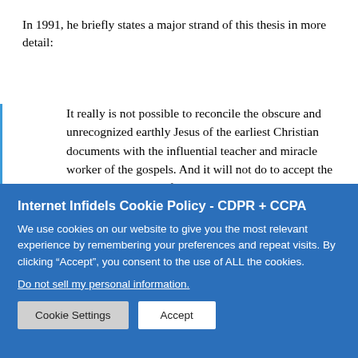In 1991, he briefly states a major strand of this thesis in more detail:
It really is not possible to reconcile the obscure and unrecognized earthly Jesus of the earliest Christian documents with the influential teacher and miracle worker of the gospels. And it will not do to accept the latter and ignore the former. The later, gospel modifications of the earliest ideas of Jesus on record are no more likely to represent any reality than are those ideas themselves. In the earliest documents the Crucifixion alone comes across as significant in...
Internet Infidels Cookie Policy - CDPR + CCPA
We use cookies on our website to give you the most relevant experience by remembering your preferences and repeat visits. By clicking “Accept”, you consent to the use of ALL the cookies.
Do not sell my personal information.
Cookie Settings
Accept